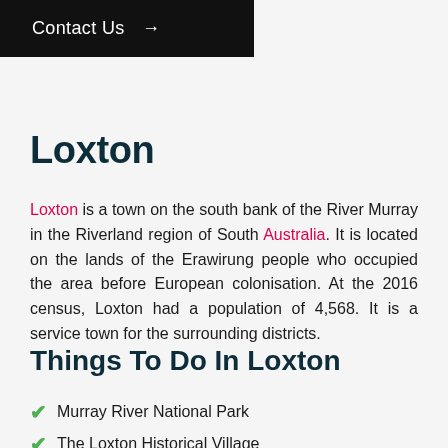Contact Us →
Loxton
Loxton is a town on the south bank of the River Murray in the Riverland region of South Australia. It is located on the lands of the Erawirung people who occupied the area before European colonisation. At the 2016 census, Loxton had a population of 4,568. It is a service town for the surrounding districts.
Things To Do In Loxton
Murray River National Park
The Loxton Historical Village